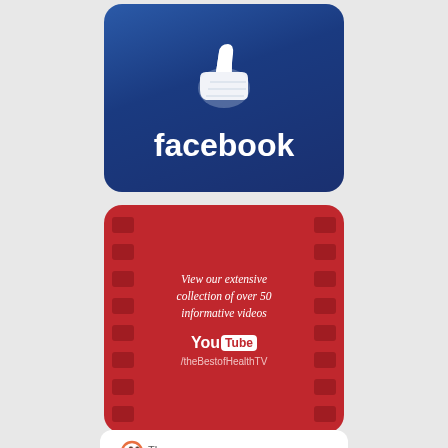[Figure (logo): Facebook logo card: blue gradient rounded rectangle with white 3D thumbs-up icon and white bold 'facebook' text below]
[Figure (infographic): YouTube promotional card: red rounded rectangle with film strip borders, text 'View our extensive collection of over 50 informative videos', YouTube logo, and handle '/theBestofHealthTV']
[Figure (infographic): The Best of Friends newsletter card: white top section with logo, salmon/coral bottom with text 'Stay up to date with our newsletter!' and orange 'SIGN UP NOW' button]